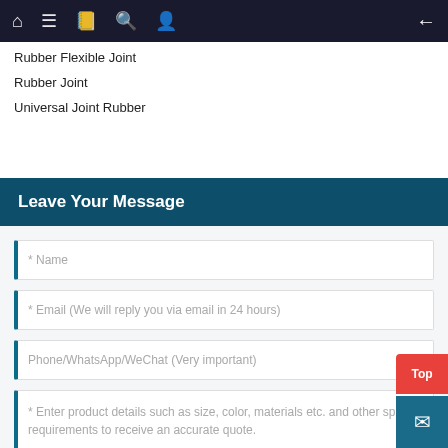Navigation bar with home, menu, notebook, search, profile icons and back arrow
Rubber Flexible Joint
Rubber Joint
Universal Joint Rubber
Leave Your Message
* Name
* Email (We will reply you via email in 24 hours)
Phone/WhatsApp/WeChat (Very important)
* Enter product details such as size, color, materials etc. and other specific requirements to receive an accurate quote.